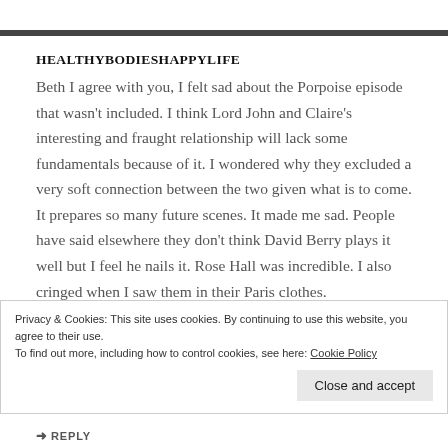HEALTHYBODIESHAPPYLIFE
Beth I agree with you, I felt sad about the Porpoise episode that wasn't included. I think Lord John and Claire's interesting and fraught relationship will lack some fundamentals because of it. I wondered why they excluded a very soft connection between the two given what is to come. It prepares so many future scenes. It made me sad. People have said elsewhere they don't think David Berry plays it well but I feel he nails it. Rose Hall was incredible. I also cringed when I saw them in their Paris clothes.
Privacy & Cookies: This site uses cookies. By continuing to use this website, you agree to their use.
To find out more, including how to control cookies, see here: Cookie Policy
Close and accept
REPLY